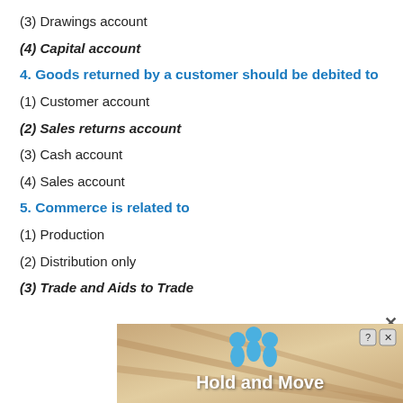(3) Drawings account
(4) Capital account
4. Goods returned by a customer should be debited to
(1) Customer account
(2) Sales returns account
(3) Cash account
(4) Sales account
5. Commerce is related to
(1) Production
(2) Distribution only
(3) Trade and Aids to Trade
[Figure (infographic): Advertisement banner showing 'Hold and Move' with blue figures icon and close/help buttons]